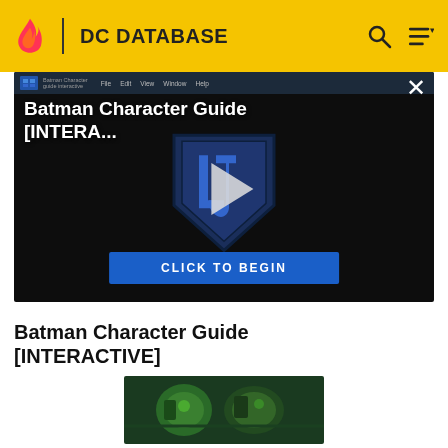DC DATABASE
[Figure (screenshot): Video player screenshot showing 'Batman Character Guide [INTERA...' title with Justice League shield logo, play button overlay, and 'CLICK TO BEGIN' button on dark background]
Batman Character Guide [INTERACTIVE]
[Figure (screenshot): Thumbnail image showing Lex Luthor's Injustice League comic art with green characters]
Lex Luthor's Injustice League
Lex Luthor begins putting together a resistance with